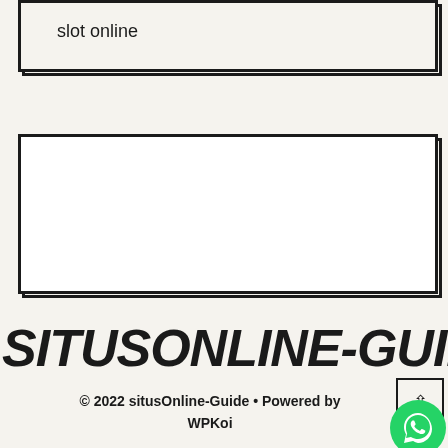slot online
[Figure (other): Empty white rectangle with thick black border and drop shadow]
SITUSONLINE-GUIDE
© 2022 situsOnline-Guide • Powered by WPKoi